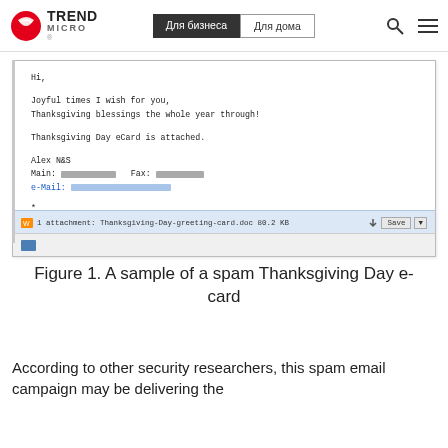Trend Micro | Для бизнеса | Для дома
[Figure (screenshot): Screenshot of a spam Thanksgiving Day email with body text, blurred contact info, and an attachment bar showing 'Thanksgiving-Day-greeting-card.doc 80.2 KB']
Figure 1. A sample of a spam Thanksgiving Day e-card
According to other security researchers, this spam email campaign may be delivering the